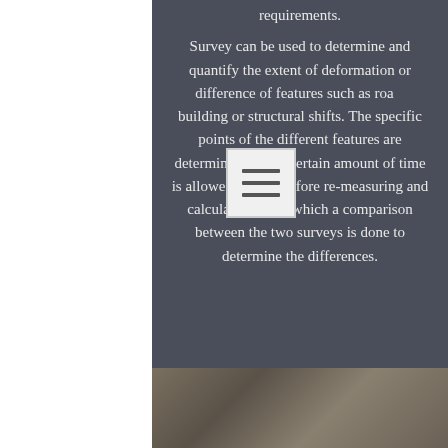requirements. Survey can be used to determine and quantify the extent of deformation or difference of features such as road, building or structural shifts. The specific points of the different features are determined, then a certain amount of time is allowed to pass before re-measuring and calculating, after which a comparison between the two surveys is done to determine the differences.
[Figure (photo): Photograph of a building or structural feature at the bottom of the page]